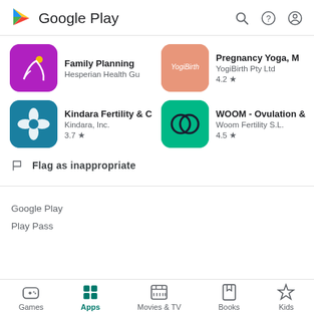Google Play
[Figure (screenshot): Family Planning app icon - purple background with stylized figure and yellow dot]
Family Planning
Hesperian Health Gu
[Figure (screenshot): YogiBirth app icon - salmon/pink background with YogiBirth text]
Pregnancy Yoga, M
YogiBirth Pty Ltd
4.2 ★
[Figure (screenshot): Kindara Fertility app icon - teal background with white flower]
Kindara Fertility & C
Kindara, Inc.
3.7 ★
[Figure (screenshot): WOOM app icon - green background with two overlapping circles]
WOOM - Ovulation &
Woom Fertility S.L.
4.5 ★
Flag as inappropriate
Google Play
Play Pass
Games  Apps  Movies & TV  Books  Kids